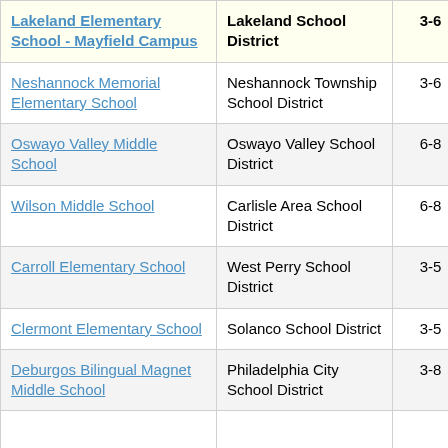| School | District | Grades |  |
| --- | --- | --- | --- |
| Lakeland Elementary School - Mayfield Campus | Lakeland School District | 3-6 | 1. |
| Neshannock Memorial Elementary School | Neshannock Township School District | 3-6 | 0. |
| Oswayo Valley Middle School | Oswayo Valley School District | 6-8 | 1. |
| Wilson Middle School | Carlisle Area School District | 6-8 | 0. |
| Carroll Elementary School | West Perry School District | 3-5 | 1. |
| Clermont Elementary School | Solanco School District | 3-5 | 1. |
| Deburgos Bilingual Magnet Middle School | Philadelphia City School District | 3-8 | 2. |
|  |  |  |  |